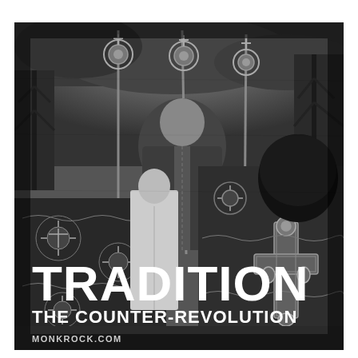[Figure (photo): Black and white photograph of a traditional Catholic or Orthodox religious ceremony. Several clergy members in ornate embroidered vestments are visible from behind, facing an altar. The vestments display intricate cross and floral patterns. One figure in white holds a liturgical item. Decorative processional staffs with ornamental tops are visible. Trees are visible in the background suggesting an outdoor or partially outdoor setting. Large decorative cross embroidered on vestment in foreground right.]
TRADITION
THE COUNTER-REVOLUTION
MONKROCK.COM